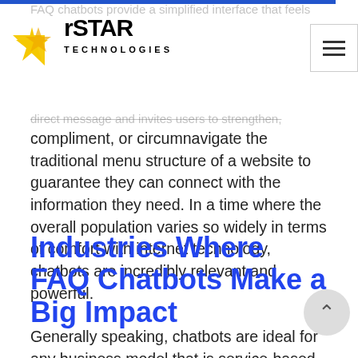rSTAR TECHNOLOGIES
direct message and invites users to strengthen, compliment, or circumnavigate the traditional menu structure of a website to guarantee they can connect with the information they need. In a time where the overall population varies so widely in terms of comfort with internet technology, chatbots are incredibly relevant and powerful.
Industries Where FAQ Chatbots Make a Big Impact
Generally speaking, chatbots are ideal for any business model that is service-based or relies heavily on post